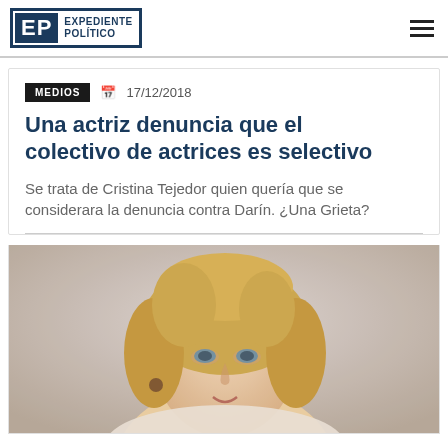EXPEDIENTE POLÍTICO
MEDIOS  17/12/2018
Una actriz denuncia que el colectivo de actrices es selectivo
Se trata de Cristina Tejedor quien quería que se considerara la denuncia contra Darín. ¿Una Grieta?
[Figure (photo): Photo of a middle-aged blonde woman looking sideways, wearing earrings, light-colored top, with a light background.]